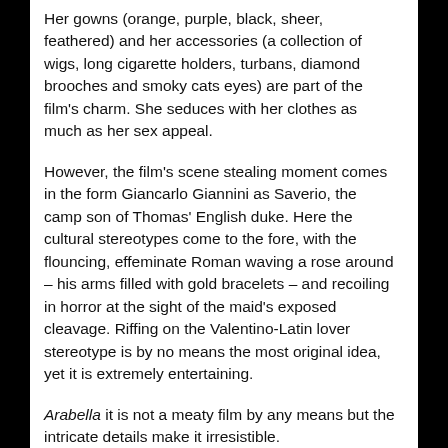Her gowns (orange, purple, black, sheer, feathered) and her accessories (a collection of wigs, long cigarette holders, turbans, diamond brooches and smoky cats eyes) are part of the film's charm. She seduces with her clothes as much as her sex appeal.
However, the film's scene stealing moment comes in the form Giancarlo Giannini as Saverio, the camp son of Thomas' English duke. Here the cultural stereotypes come to the fore, with the flouncing, effeminate Roman waving a rose around – his arms filled with gold bracelets – and recoiling in horror at the sight of the maid's exposed cleavage. Riffing on the Valentino-Latin lover stereotype is by no means the most original idea, yet it is extremely entertaining.
Arabella it is not a meaty film by any means but the intricate details make it irresistible.